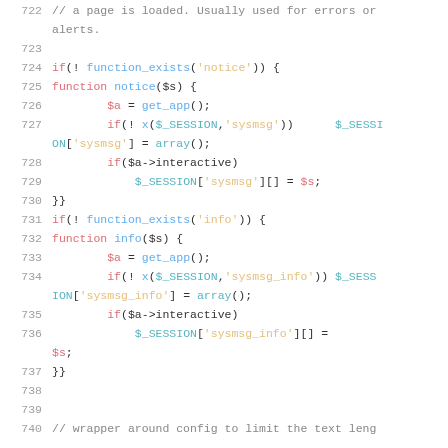Code listing lines 722-740 showing PHP functions notice() and info() with syntax highlighting